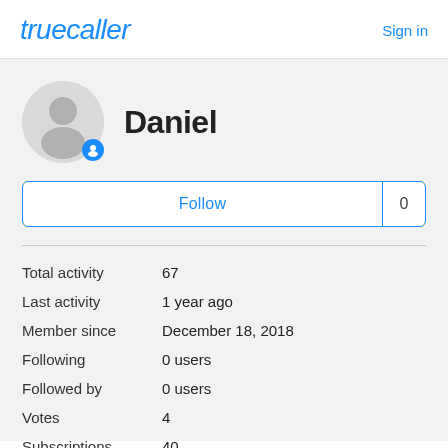truecaller   Sign in
[Figure (illustration): User avatar circle with person silhouette and small blue badge icon]
Daniel
Follow   0
| Field | Value |
| --- | --- |
| Total activity | 67 |
| Last activity | 1 year ago |
| Member since | December 18, 2018 |
| Following | 0 users |
| Followed by | 0 users |
| Votes | 4 |
| Subscriptions | 40 |